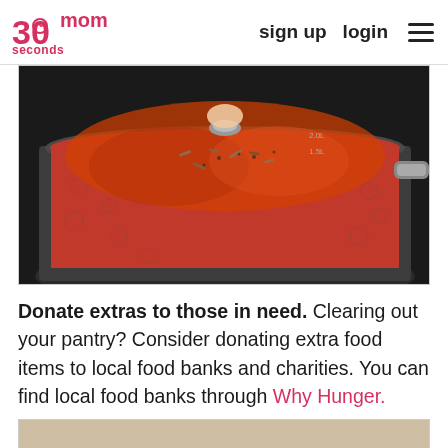30 seconds mom   sign up   login
[Figure (photo): A stainless steel hammered pot on a stovetop containing red tomato sauce with herbs sprinkled on top, with a hand holding the lid handle above]
Donate extras to those in need. Clearing out your pantry? Consider donating extra food items to local food banks and charities. You can find local food banks through Why Hunger.
[Figure (photo): Bottom strip of another photo partially visible]